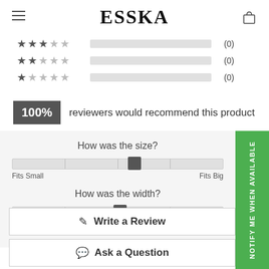ESSKA
[Figure (infographic): Star rating rows for 3-star, 2-star, and 1-star showing empty progress bars with (0) counts]
100% reviewers would recommend this product
How was the size?
Fits Small | Fits Big
How was the width?
Narrow | Wide
✎ Write a Review
💬 Ask a Question